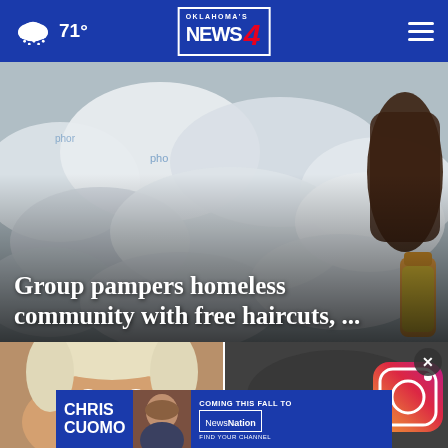71° Oklahoma's News 4
[Figure (photo): Pile of white plastic bags with blue text, and an orange bottle of yellow liquid on the right side. Main story hero image.]
Group pampers homeless community with free haircuts, ...
[Figure (photo): Close-up of an elderly person's face with blonde/white hair and blue eyes.]
[Figure (photo): Close-up of a smartphone screen showing the Instagram app icon, pink and orange gradient.]
[Figure (infographic): Advertisement banner: CHRIS CUOMO COMING THIS FALL TO [NEWSNATION] FIND YOUR CHANNEL, featuring a photo of Chris Cuomo.]